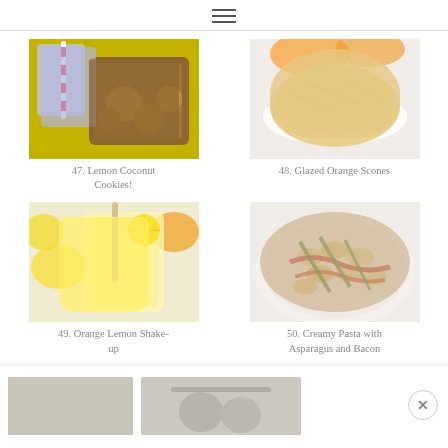hamburger menu icon
[Figure (photo): Lemon Coconut Cookies: glass of milk, red striped straw, brown bag of cookies on yellow background]
47. Lemon Coconut Cookies!
[Figure (photo): Glazed Orange Scones: scone on white doily with orange slices in background]
48. Glazed Orange Scones
[Figure (photo): Orange Lemon Shake-up: yellow citrus drink in glass with straw and lemon/orange slices]
49. Orange Lemon Shake-up
[Figure (photo): Creamy Pasta with Asparagus and Bacon: bow tie pasta with green asparagus and bacon on white plate]
50. Creamy Pasta with Asparagus and Bacon
[Figure (photo): Partially visible food photos at bottom of page]
(close button X)